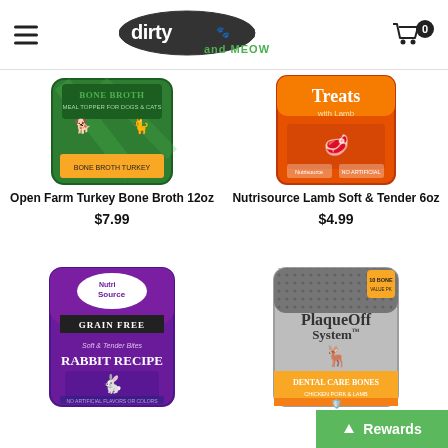Dirty Dogs and Meow — Navigation header with logo and cart
[Figure (photo): Open Farm Turkey Bone Broth 12oz product package — green bag with bone broth label]
Open Farm Turkey Bone Broth 12oz
$7.99
[Figure (photo): Nutrisource Lamb Soft & Tender 6oz product package — orange/gold bag]
Nutrisource Lamb Soft & Tender 6oz
$4.99
[Figure (photo): NutriSource Grain Free Rabbit Recipe Soft & Tender Bites dog treat bag — purple and black]
[Figure (photo): PlaqueOff System Dental Care Bones product bag — silver and gold]
Rewards